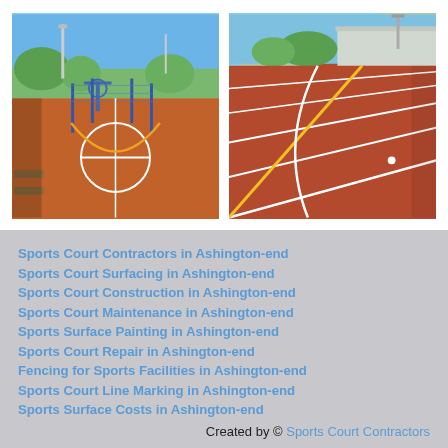[Figure (photo): Outdoor basketball/multi-sport court with red rubberized surface, blue metal fencing, basketball hoop, and trees in background under blue sky]
[Figure (photo): Red rubberized athletics track surface with white and yellow line markings, building and floodlights visible in background]
Sports Court Contractors in Ashington-end
Sports Court Surfacing in Ashington-end
Sports Court Construction in Ashington-end
Sports Court Maintenance in Ashington-end
Sports Surface Painting in Ashington-end
Sports Court Repair in Ashington-end
Fencing for Sports Facilities in Ashington-end
Sports Court Line Marking in Ashington-end
Sports Surface Costs in Ashington-end
Created by © Sports Court Contractors